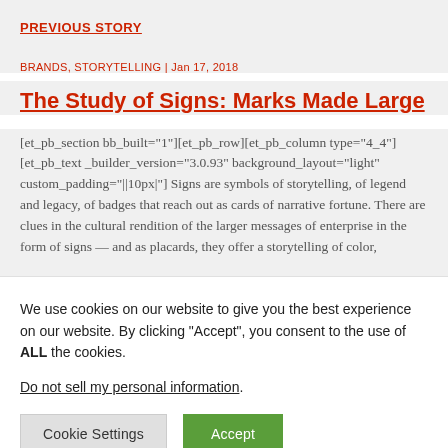PREVIOUS STORY
BRANDS, STORYTELLING | Jan 17, 2018
The Study of Signs: Marks Made Large
[et_pb_section bb_built="1"][et_pb_row][et_pb_column type="4_4"][et_pb_text _builder_version="3.0.93" background_layout="light" custom_padding="||10px|"] Signs are symbols of storytelling, of legend and legacy, of badges that reach out as cards of narrative fortune. There are clues in the cultural rendition of the larger messages of enterprise in the form of signs — and as placards, they offer a storytelling of color,
We use cookies on our website to give you the best experience on our website. By clicking “Accept”, you consent to the use of ALL the cookies.
Do not sell my personal information.
Cookie Settings   Accept